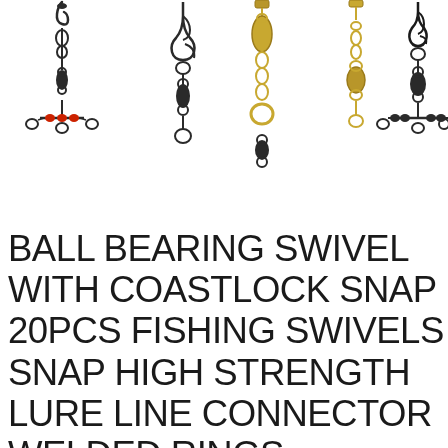[Figure (illustration): Product photo showing five different fishing swivel connectors and snaps arranged vertically: from left to right — a three-way swivel with red beads, a coastlock snap swivel, a gold barrel swivel with welded ring, a ball bearing swivel (gold/brass), and a three-way ball bearing swivel with coastlock snap. Items are displayed on a white background.]
BALL BEARING SWIVEL WITH COASTLOCK SNAP 20PCS FISHING SWIVELS SNAP HIGH STRENGTH LURE LINE CONNECTOR WELDED RINGS